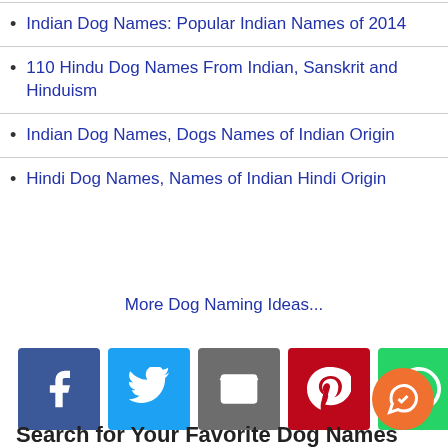Indian Dog Names: Popular Indian Names of 2014
110 Hindu Dog Names From Indian, Sanskrit and Hinduism
Indian Dog Names, Dogs Names of Indian Origin
Hindi Dog Names, Names of Indian Hindi Origin
More Dog Naming Ideas...
[Figure (infographic): Social sharing buttons: Facebook, Twitter, Email, Pinterest, WhatsApp, Print, More]
Search for Your Favorite Dog Names